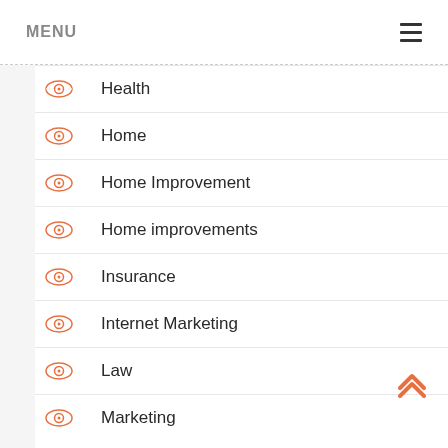MENU
Health
Home
Home Improvement
Home improvements
Insurance
Internet Marketing
Law
Marketing